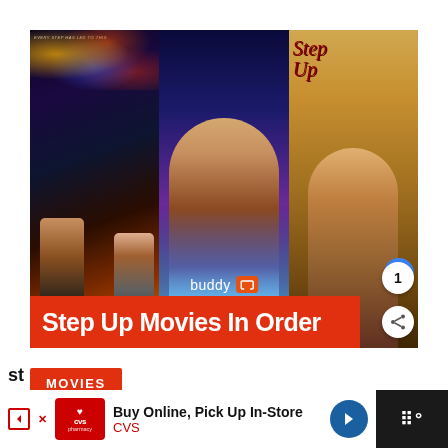[Figure (infographic): BuddyTV promotional image showing three Step Up movie posters side by side with a red banner reading 'Step Up Movies In Order' and the BuddyTV logo overlay]
MOVIES
[Figure (screenshot): CVS Pharmacy advertisement banner: 'Buy Online, Pick Up In-Store' with CVS logo and navigation arrow icon]